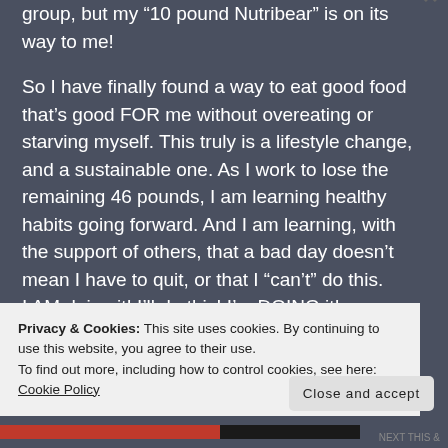group, but my “10 pound Nutribear” is on its way to me!
So I have finally found a way to eat good food that’s good FOR me without overeating or starving myself. This truly is a lifestyle change, and a sustainable one. As I work to lose the remaining 46 pounds, I am learning healthy habits going forward. And I am learning, with the support of others, that a bad day doesn’t mean I have to quit, or that I “can’t” do this. I AM doing it! I’ll do this! I’m DOING it!
Privacy & Cookies: This site uses cookies. By continuing to use this website, you agree to their use.
To find out more, including how to control cookies, see here: Cookie Policy